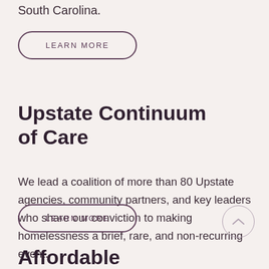South Carolina.
LEARN MORE
Upstate Continuum of Care
We lead a coalition of more than 80 Upstate agencies, community partners, and key leaders who share our conviction to making homelessness a brief, rare, and non-recurring event.
LEARN MORE
Affordable